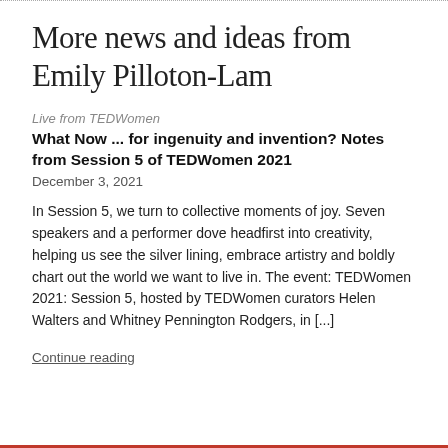More news and ideas from Emily Pilloton-Lam
Live from TEDWomen
What Now ... for ingenuity and invention? Notes from Session 5 of TEDWomen 2021
December 3, 2021
In Session 5, we turn to collective moments of joy. Seven speakers and a performer dove headfirst into creativity, helping us see the silver lining, embrace artistry and boldly chart out the world we want to live in. The event: TEDWomen 2021: Session 5, hosted by TEDWomen curators Helen Walters and Whitney Pennington Rodgers, in [...]
Continue reading